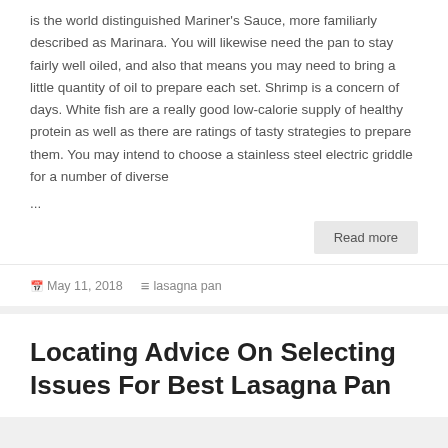is the world distinguished Mariner's Sauce, more familiarly described as Marinara. You will likewise need the pan to stay fairly well oiled, and also that means you may need to bring a little quantity of oil to prepare each set. Shrimp is a concern of days. White fish are a really good low-calorie supply of healthy protein as well as there are ratings of tasty strategies to prepare them. You may intend to choose a stainless steel electric griddle for a number of diverse
...
Read more
May 11, 2018   lasagna pan
Locating Advice On Selecting Issues For Best Lasagna Pan